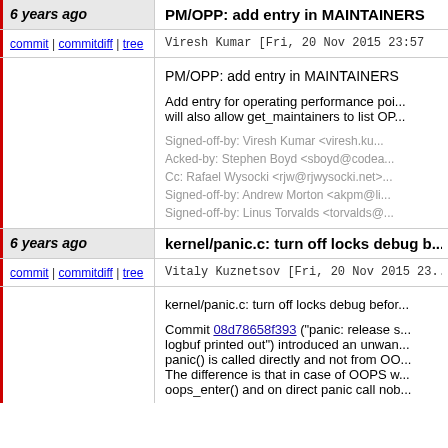6 years ago
PM/OPP: add entry in MAINTAINERS
commit | commitdiff | tree
Viresh Kumar [Fri, 20 Nov 2015 23:57
PM/OPP: add entry in MAINTAINERS

Add entry for operating performance poi...
will also allow get_maintainers to list OP...

Signed-off-by: Viresh Kumar <viresh.ku...
Acked-by: Stephen Boyd <sboyd@codea...
Cc: Rafael Wysocki <rjw@rjwysocki.net>...
Signed-off-by: Andrew Morton <akpm@li...
Signed-off-by: Linus Torvalds <torvalds@...
6 years ago
kernel/panic.c: turn off locks debug b...
commit | commitdiff | tree
Vitaly Kuznetsov [Fri, 20 Nov 2015 23...
kernel/panic.c: turn off locks debug befor...

Commit 08d78658f393 ("panic: release s...
logbuf printed out") introduced an unwan...
panic() is called directly and not from OO...
The difference is that in case of OOPS w...
oops_enter() and on direct panic call nob...